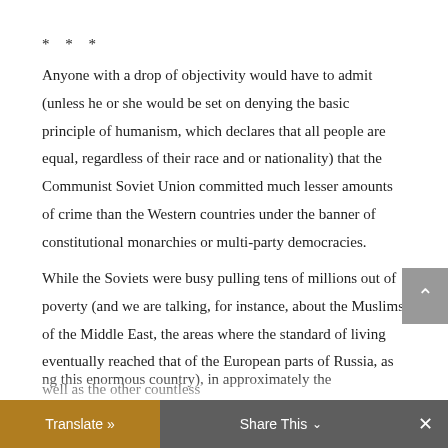* * *
Anyone with a drop of objectivity would have to admit (unless he or she would be set on denying the basic principle of humanism, which declares that all people are equal, regardless of their race and or nationality) that the Communist Soviet Union committed much lesser amounts of crime than the Western countries under the banner of constitutional monarchies or multi-party democracies⁠.
While the Soviets were busy pulling tens of millions out of poverty (and we are talking, for instance, about the Muslims of the Middle East, the areas where the standard of living eventually reached that of the European parts of Russia, as well as the other countless …ng this enormous country), in approximately the
Translate »   Share This ⌄   ×